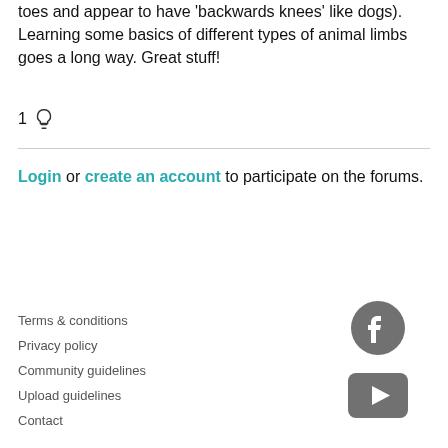toes and appear to have 'backwards knees' like dogs). Learning some basics of different types of animal limbs goes a long way. Great stuff!
1 💡
Login or create an account to participate on the forums.
Terms & conditions
Privacy policy
Community guidelines
Upload guidelines
Contact